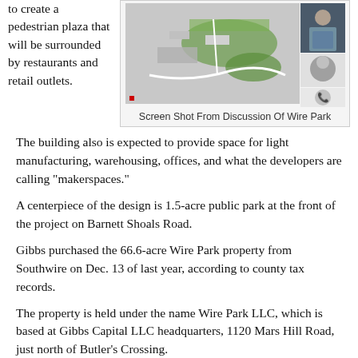to create a pedestrian plaza that will be surrounded by restaurants and retail outlets.
[Figure (screenshot): Aerial/overhead map screenshot of Wire Park project site, with a video conference overlay showing a man in the upper right and a user avatar/phone icon below him.]
Screen Shot From Discussion Of Wire Park
The building also is expected to provide space for light manufacturing, warehousing, offices, and what the developers are calling "makerspaces."
A centerpiece of the design is 1.5-acre public park at the front of the project on Barnett Shoals Road.
Gibbs purchased the 66.6-acre Wire Park property from Southwire on Dec. 13 of last year, according to county tax records.
The property is held under the name Wire Park LLC, which is based at Gibbs Capital LLC headquarters, 1120 Mars Hill Road, just north of Butler's Crossing.
Gibbs lives at 2151 Union Church Road, south of New High...